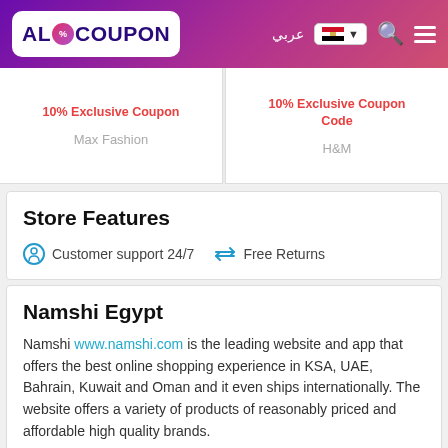AloCoupon — عربي — Egypt flag — Search — Menu
10% Exclusive Coupon
Max Fashion
10% Exclusive Coupon Code
H&M
Store Features
Customer support 24/7   Free Returns
Namshi Egypt
Namshi www.namshi.com is the leading website and app that offers the best online shopping experience in KSA, UAE, Bahrain, Kuwait and Oman and it even ships internationally. The website offers a variety of products of reasonably priced and affordable high quality brands.